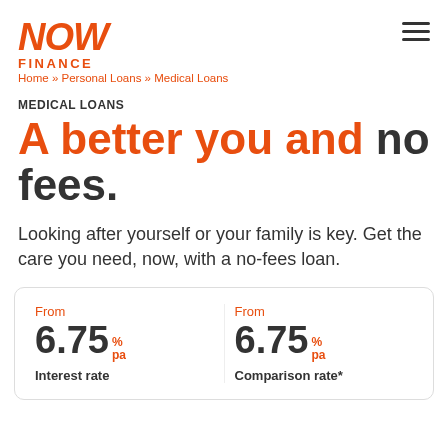NOW FINANCE
Home » Personal Loans » Medical Loans
MEDICAL LOANS
A better you and no fees.
Looking after yourself or your family is key. Get the care you need, now, with a no-fees loan.
|  |  |
| --- | --- |
| From
6.75 % pa
Interest rate | From
6.75 % pa
Comparison rate* |